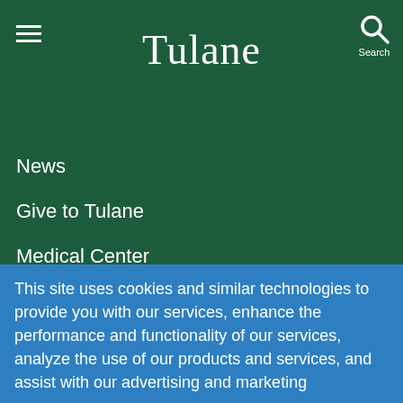Tulane
News
Give to Tulane
Medical Center
Neighborhood Relations
This site uses cookies and similar technologies to provide you with our services, enhance the performance and functionality of our services, analyze the use of our products and services, and assist with our advertising and marketing